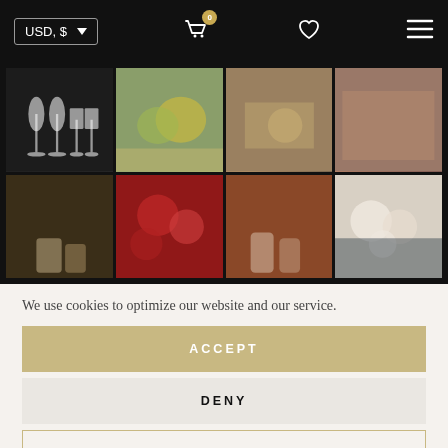[Figure (screenshot): E-commerce website header with USD currency selector, shopping cart with badge showing 0, heart/wishlist icon, and hamburger menu on dark background]
[Figure (photo): Grid of 8 product lifestyle photos showing glassware, table settings with grapes, flowers, and beverages on dark background]
We use cookies to optimize our website and our service.
ACCEPT
DENY
PREFERENCES
Cookie Policy   PRIVACY POLICY